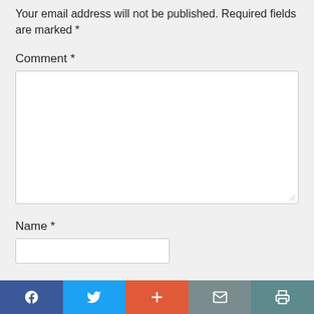Your email address will not be published. Required fields are marked *
Comment *
[Figure (other): Comment textarea input field (empty, white background, bordered)]
Name *
[Figure (other): Name text input field (empty, white background, bordered)]
[Figure (other): Social sharing bar with Facebook, Twitter, Plus, Email, and Print buttons]